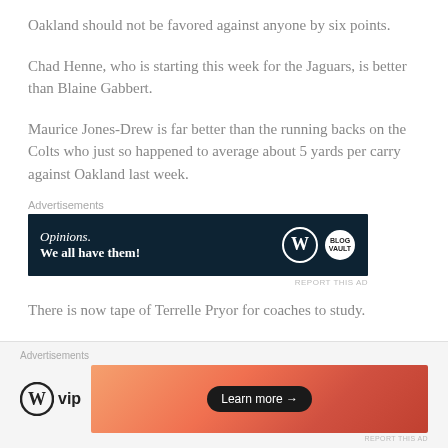Oakland should not be favored against anyone by six points.
Chad Henne, who is starting this week for the Jaguars, is better than Blaine Gabbert.
Maurice Jones-Drew is far better than the running backs on the Colts who just so happened to average about 5 yards per carry against Oakland last week.
[Figure (other): WordPress advertisement banner: dark navy background with 'Opinions. We all have them!' text and WordPress logo icons]
There is now tape of Terrelle Pryor for coaches to study.
[Figure (other): Bottom advertisement bar: WordPress VIP logo with orange gradient banner and Learn more button]